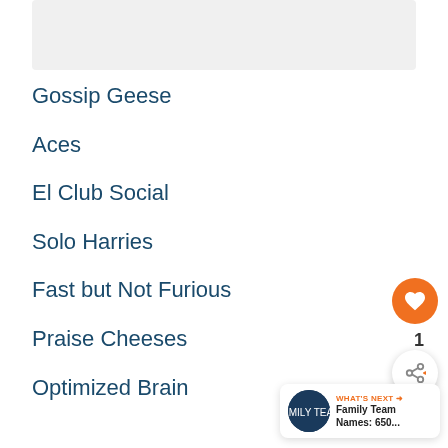[Figure (photo): Partially visible banner or header image at the top of the page]
Gossip Geese
Aces
El Club Social
Solo Harries
Fast but Not Furious
Praise Cheeses
Optimized Brain
[Figure (other): Orange circular like/heart button with heart icon, count '1' below it, and a share button circle]
[Figure (other): WHAT'S NEXT banner with Family Team Names: 650... thumbnail and label]